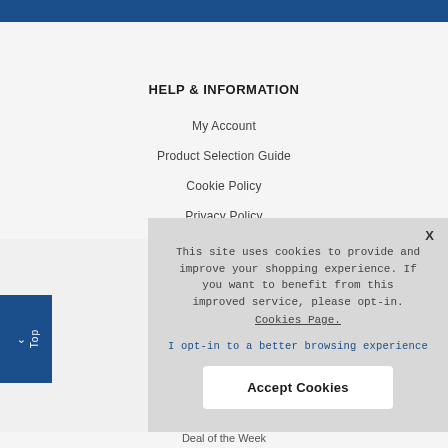HELP & INFORMATION
My Account
Product Selection Guide
Cookie Policy
Privacy Policy
This site uses cookies to provide and improve your shopping experience. If you want to benefit from this improved service, please opt-in. Cookies Page.
I opt-in to a better browsing experience
Accept Cookies
Deal of the Week